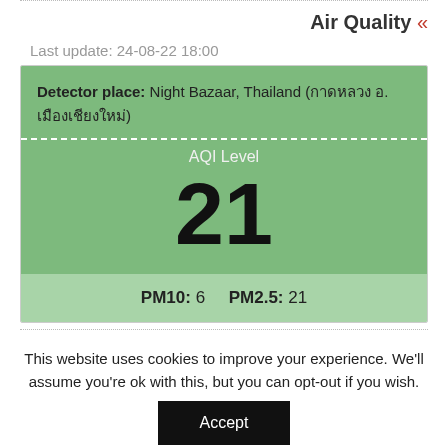Air Quality «
Last update: 24-08-22 18:00
Detector place: Night Bazaar, Thailand (กาดหลวง อ. เมืองเชียงใหม่)
AQI Level
21
PM10: 6    PM2.5: 21
This website uses cookies to improve your experience. We'll assume you're ok with this, but you can opt-out if you wish.
Accept